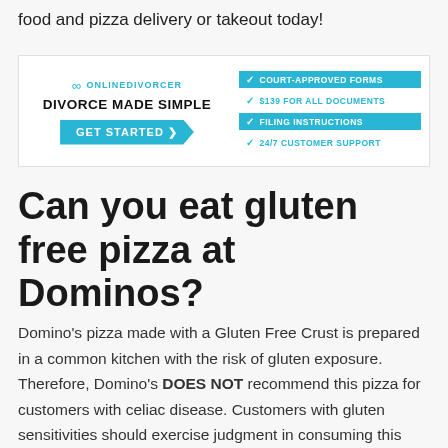food and pizza delivery or takeout today!
[Figure (infographic): OnlineDivorcer advertisement banner: 'DIVORCE MADE SIMPLE' with GET STARTED button and checklist: COURT-APPROVED FORMS, $139 FOR ALL DOCUMENTS, FILING INSTRUCTIONS, 24/7 CUSTOMER SUPPORT]
Can you eat gluten free pizza at Dominos?
Domino's pizza made with a Gluten Free Crust is prepared in a common kitchen with the risk of gluten exposure. Therefore, Domino's DOES NOT recommend this pizza for customers with celiac disease. Customers with gluten sensitivities should exercise judgment in consuming this pizza. Domino's menu items are prepared in stores using